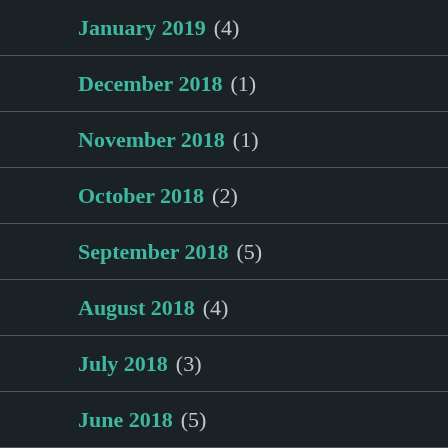January 2019 (4)
December 2018 (1)
November 2018 (1)
October 2018 (2)
September 2018 (5)
August 2018 (4)
July 2018 (3)
June 2018 (5)
May 2018 (7)